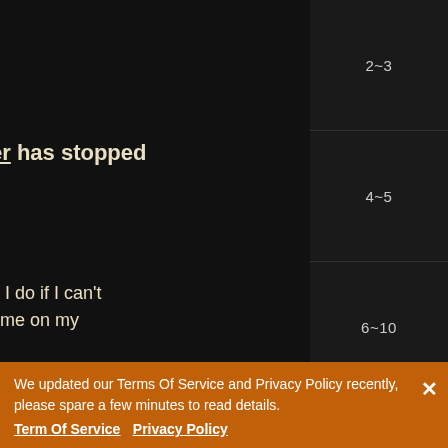er has stopped
d I do if I can't
ume on my
o download and
Web-Play App.
App
o download and
fficial Desktop
App
| 2~3 |
| 4~5 |
| 6~10 |
| 11~20 |
Bonus for Shells
Duration: Jan. 21 to Ja...
Server: S1 to S723
Description: Reach ce...
We updated our Terms Of Service and Privacy Policy recently, please spare a few minutes to read details.
Term Of Service  Privacy Policy